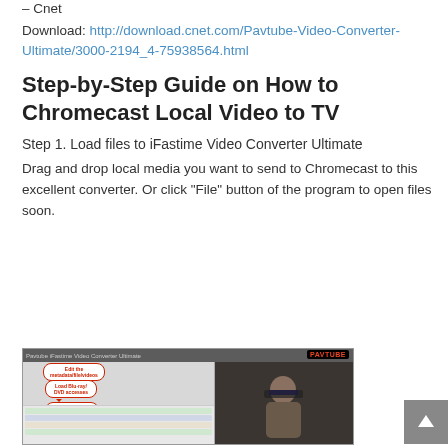– Cnet
Download: http://download.cnet.com/Pavtube-Video-Converter-Ultimate/3000-2194_4-75938564.html
Step-by-Step Guide on How to Chromecast Local Video to TV
Step 1. Load files to iFastime Video Converter Ultimate
Drag and drop local media you want to send to Chromecast to this excellent converter. Or click “File” button of the program to open files soon.
[Figure (screenshot): Screenshot of iFastime/Pavtube Video Converter Ultimate application window showing video files loaded and annotated with red callout bubbles: 'Edit the metadata/file/videos', 'Load Blu-ray/DVD accesses', 'Import video/make sessions', and 'Preview window'. The right side shows a preview of a person wearing sunglasses.]